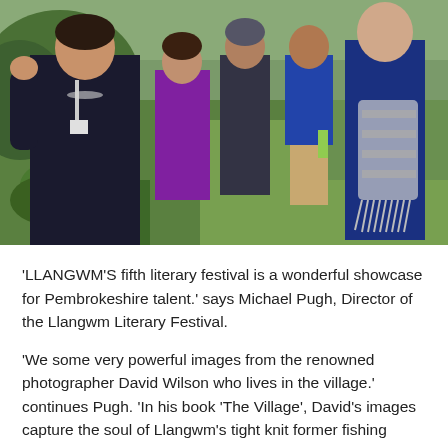[Figure (photo): Outdoor group photo showing several people standing on grass near green plants/garden area. A woman in dark clothing with a lanyard/badge is prominent in the foreground left. Other people in casual summer clothing visible behind her.]
'LLANGWM'S fifth literary festival is a wonderful showcase for Pembrokeshire talent.' says Michael Pugh, Director of the Llangwm Literary Festival.
'We some very powerful images from the renowned photographer David Wilson who lives in the village.' continues Pugh. 'In his book 'The Village', David's images capture the soul of Llangwm's tight knit former fishing community. These images are all the more important because many of them were taken during lock-down. It is